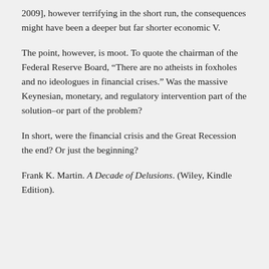2009], however terrifying in the short run, the consequences might have been a deeper but far shorter economic V.
The point, however, is moot. To quote the chairman of the Federal Reserve Board, “There are no atheists in foxholes and no ideologues in financial crises.” Was the massive Keynesian, monetary, and regulatory intervention part of the solution–or part of the problem?
In short, were the financial crisis and the Great Recession the end? Or just the beginning?
Frank K. Martin. A Decade of Delusions. (Wiley, Kindle Edition).